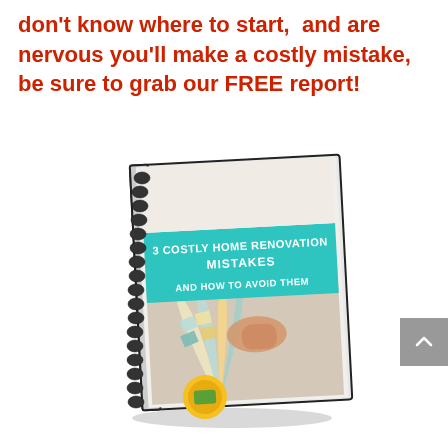don't know where to start,  and are nervous you'll make a costly mistake, be sure to grab our FREE report!
[Figure (photo): A spiral-bound book titled '3 Costly Home Renovation Mistakes and How to Avoid Them' shown in 3D perspective. The cover features a teal/turquoise banner with white text and an image of hands holding paint color swatches/fan deck over home renovation materials.]